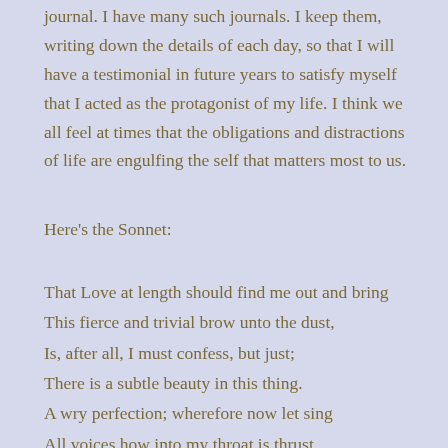journal. I have many such journals. I keep them, writing down the details of each day, so that I will have a testimonial in future years to satisfy myself that I acted as the protagonist of my life. I think we all feel at times that the obligations and distractions of life are engulfing the self that matters most to us.
Here's the Sonnet:
That Love at length should find me out and bring
This fierce and trivial brow unto the dust,
Is, after all, I must confess, but just;
There is a subtle beauty in this thing.
A wry perfection; wherefore now let sing
All voices how into my throat is thrust,
Unwelcome as Death's own, Love's bitter crust,
All criers proclaim it, and all steeples ring.
This being done, there let the matter rest.